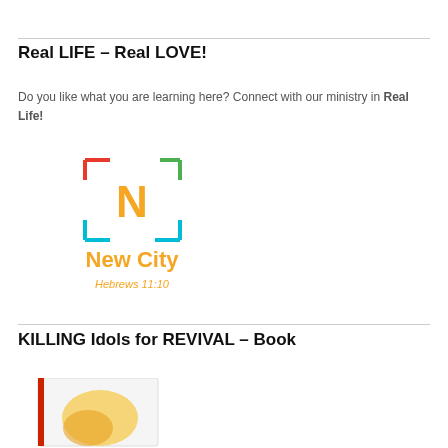Real LIFE – Real LOVE!
Do you like what you are learning here? Connect with our ministry in Real Life!
[Figure (logo): New City church logo with colorful bracket frame around the letter N, text 'New City' in orange, and 'Hebrews 11:10' in orange below]
KILLING Idols for REVIVAL – Book
[Figure (photo): Partial view of a book cover with yellow/golden imagery on white, partially cut off at bottom of page]